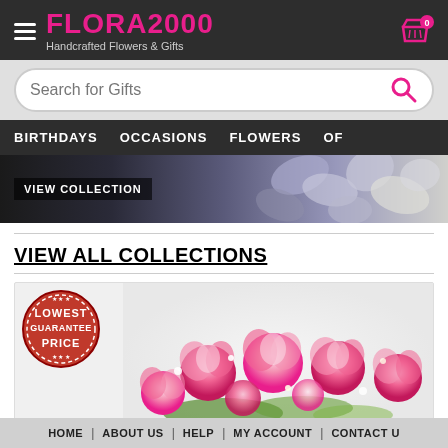[Figure (screenshot): Flora2000 website header with logo, hamburger menu, cart icon, search bar, navigation menu, flower banner with VIEW COLLECTION button, VIEW ALL COLLECTIONS link, lowest price guarantee badge, pink roses product image, and footer navigation]
FLORA2000 Handcrafted Flowers & Gifts
Search for Gifts
BIRTHDAYS  OCCASIONS  FLOWERS  OF
VIEW COLLECTION
VIEW ALL COLLECTIONS
HOME | ABOUT US | HELP | MY ACCOUNT | CONTACT U